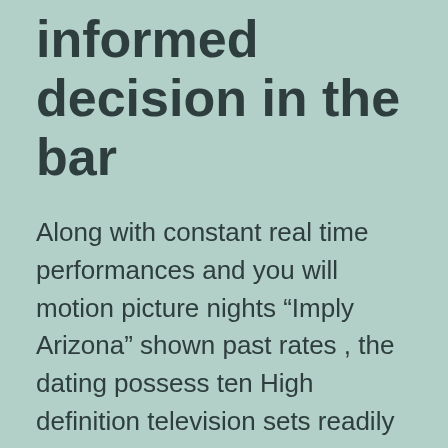informed decision in the bar
Along with constant real time performances and you will motion picture nights “Imply Arizona” shown past rates , the dating possess ten High definition television sets readily available for recreations fans to help you options because of their favorite incidents.
As the , Wisdom provides supported traditional drinks with a couple of the